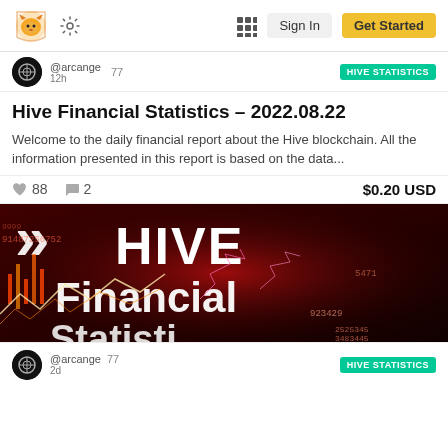Hive blockchain app header with logo, settings gear, grid icon, Sign In button, Get Started button
@arcange  77  12h  HIVE STATISTICS
Hive Financial Statistics – 2022.08.22
Welcome to the daily financial report about the Hive blockchain. All the information presented in this report is based on the data...
88  2  $0.20 USD
[Figure (illustration): Dark red banner image showing Hive blockchain Financial Statistics branding with candlestick chart graphics, lightning effects, and the words 'HIVE Financial' visible with partial 'Statistics' text cut off at bottom]
@arcange  77  2d  HIVE STATISTICS